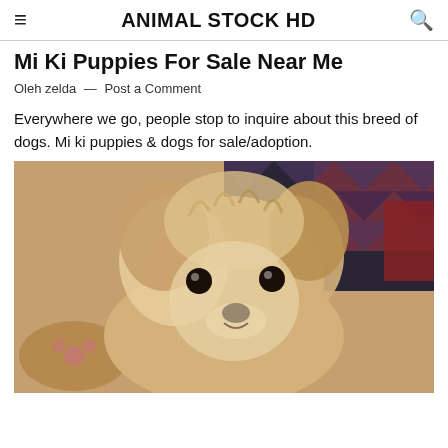ANIMAL STOCK HD
Mi Ki Puppies For Sale Near Me
Oleh zelda — Post a Comment
Everywhere we go, people stop to inquire about this breed of dogs. Mi ki puppies & dogs for sale/adoption.
[Figure (photo): Close-up photo of a small fluffy Mi Ki dog with golden/tan and white fur, dark eyes and nose, sitting on a fuzzy surface with a patterned fabric in the background.]